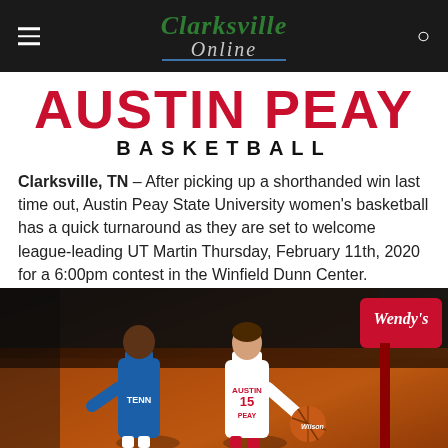Clarksville Online
AUSTIN PEAY BASKETBALL
Clarksville, TN – After picking up a shorthanded win last time out, Austin Peay State University women's basketball has a quick turnaround as they are set to welcome league-leading UT Martin Thursday, February 11th, 2020 for a 6:00pm contest in the Winfield Dunn Center.
[Figure (photo): Austin Peay women's basketball player #15 dribbling past a defender in blue Tennessee State uniform, with Wendy's signage visible in the background on the court.]